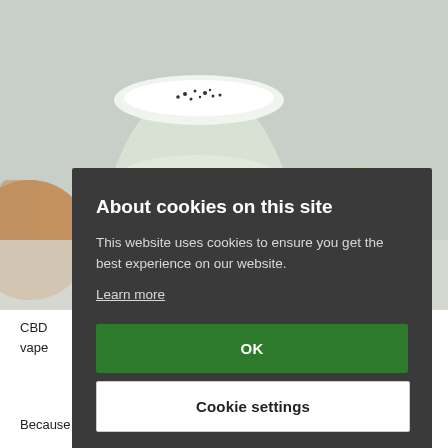[Figure (photo): Photo of a milky cocktail in a coupe glass with dark seeds sprinkled on top, and a bowl of green salad visible in the background on a marble surface.]
CBD
vape
About cookies on this site
This website uses cookies to ensure you get the best experience on our website.
Learn more
OK
Cookie settings
Because of its distinct, naturally bitter taste, CBD works well as an